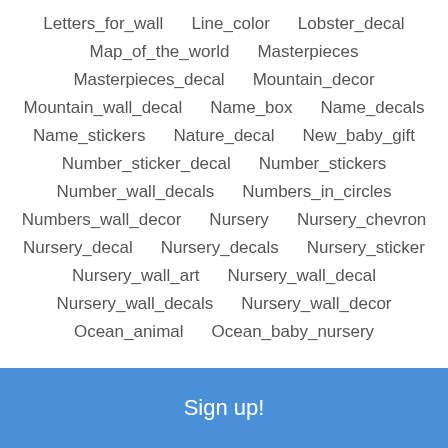Letters_for_wall   Line_color   Lobster_decal
Map_of_the_world   Masterpieces
Masterpieces_decal   Mountain_decor
Mountain_wall_decal   Name_box   Name_decals
Name_stickers   Nature_decal   New_baby_gift
Number_sticker_decal   Number_stickers
Number_wall_decals   Numbers_in_circles
Numbers_wall_decor   Nursery   Nursery_chevron
Nursery_decal   Nursery_decals   Nursery_sticker
Nursery_wall_art   Nursery_wall_decal
Nursery_wall_decals   Nursery_wall_decor
Ocean_animal   Ocean_baby_nursery
Sign up!